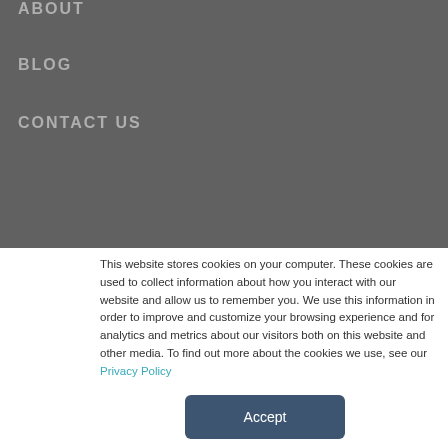ABOUT
BLOG
CONTACT US
This website stores cookies on your computer. These cookies are used to collect information about how you interact with our website and allow us to remember you. We use this information in order to improve and customize your browsing experience and for analytics and metrics about our visitors both on this website and other media. To find out more about the cookies we use, see our Privacy Policy
Accept